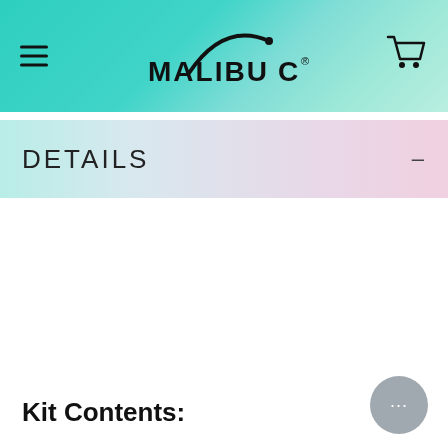MALIBU C
DETAILS
Kit Contents: